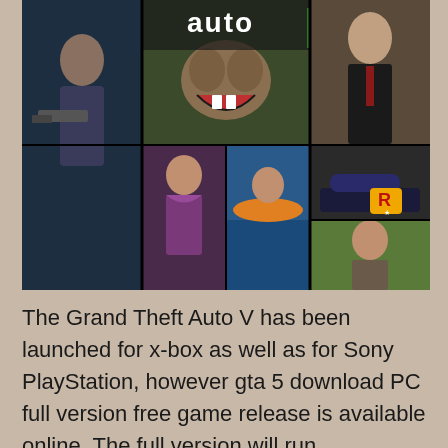[Figure (screenshot): Grand Theft Auto V promotional collage image showing game characters and logo]
The Grand Theft Auto V has been launched for x-box as well as for Sony PlayStation, however gta 5 download PC full version free game release is available online. The full version will run seamlessly and enjoy the game that players around the world enjoy on their X-box or PS. Enjoy the game created by… Continue reading